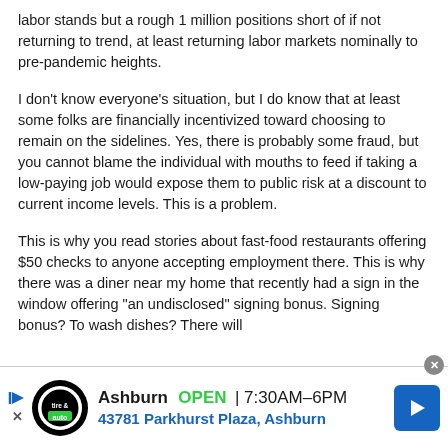labor stands but a rough 1 million positions short of if not returning to trend, at least returning labor markets nominally to pre-pandemic heights.
I don't know everyone's situation, but I do know that at least some folks are financially incentivized toward choosing to remain on the sidelines. Yes, there is probably some fraud, but you cannot blame the individual with mouths to feed if taking a low-paying job would expose them to public risk at a discount to current income levels. This is a problem.
This is why you read stories about fast-food restaurants offering $50 checks to anyone accepting employment there. This is why there was a diner near my home that recently had a sign in the window offering "an undisclosed" signing bonus. Signing bonus? To wash dishes? There will
[Figure (other): Advertisement banner for Virginia Tire & Auto in Ashburn. Shows logo, store name, OPEN status, hours 7:30AM-6PM, address 43781 Parkhurst Plaza Ashburn, and a blue navigation arrow icon.]